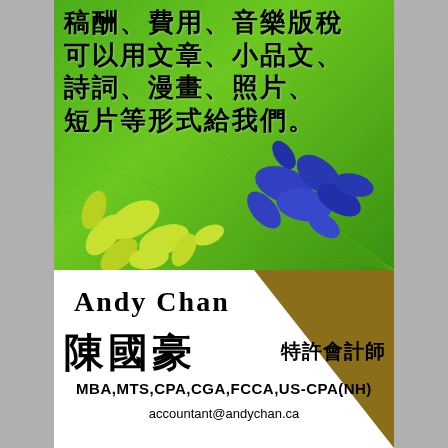[Figure (photo): Green leaf background with yellow-green and blue leaf decorations, Chinese text overlay reading: 稿酬、費用、音樂版稅可以用文章、小品文、詩詞、漫畫、照片、短片等形式給我們。]
稿酬、費用、音樂版稅可以用文章、小品文、詩詞、漫畫、照片、短片等形式給我們。
Andy Chan 陳國豪 特許會計師
MBA,MTS,CPA,CGA,FCCA,US-CPA(NH)